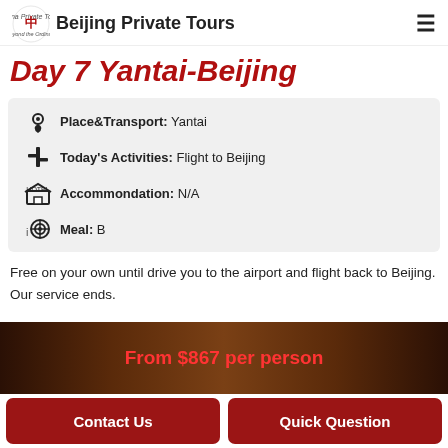Beijing Private Tours
Day 7 Yantai-Beijing
Place&Transport: Yantai
Today's Activities: Flight to Beijing
Accommondation: N/A
Meal: B
Free on your own until drive you to the airport and flight back to Beijing. Our service ends.
From $867 per person
Contact Us
Quick Question